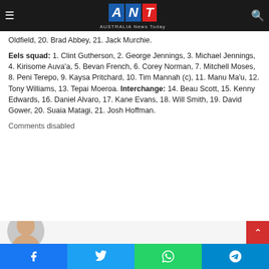ANT Australia News Today
Oldfield, 20. Brad Abbey, 21. Jack Murchie.
Eels squad: 1. Clint Gutherson, 2. George Jennings, 3. Michael Jennings, 4. Kirisome Auva'a, 5. Bevan French, 6. Corey Norman, 7. Mitchell Moses, 8. Peni Terepo, 9. Kaysa Pritchard, 10. Tim Mannah (c), 11. Manu Ma'u, 12. Tony Williams, 13. Tepai Moeroa. Interchange: 14. Beau Scott, 15. Kenny Edwards, 16. Daniel Alvaro, 17. Kane Evans, 18. Will Smith, 19. David Gower, 20. Suaia Matagi, 21. Josh Hoffman.
Comments disabled
[Figure (photo): Partial view of a person's bald head at bottom left of page]
Social share bar: Facebook, Twitter, WhatsApp, Telegram